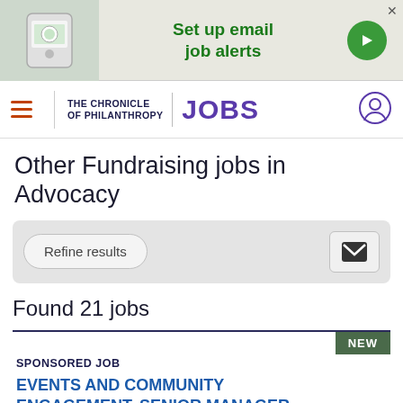[Figure (infographic): Ad banner showing a phone with app and text 'Set up email job alerts' with arrow button]
THE CHRONICLE OF PHILANTHROPY | JOBS
Other Fundraising jobs in Advocacy
Refine results
Found 21 jobs
SPONSORED JOB
EVENTS AND COMMUNITY ENGAGEMENT, SENIOR MANAGER